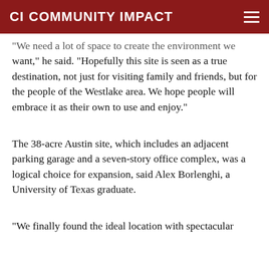CI COMMUNITY IMPACT
"We need a lot of space to create the environment we want," he said. "Hopefully this site is seen as a true destination, not just for visiting family and friends, but for the people of the Westlake area. We hope people will embrace it as their own to use and enjoy."
The 38-acre Austin site, which includes an adjacent parking garage and a seven-story office complex, was a logical choice for expansion, said Alex Borlenghi, a University of Texas graduate.
"We finally found the ideal location with spectacular